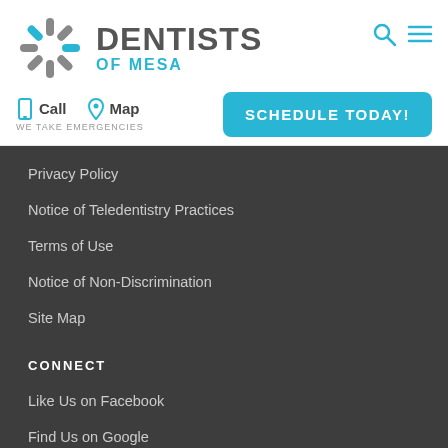[Figure (logo): Dentists of Mesa logo with starburst/asterisk icon in gray and blue, with text DENTISTS in gray and OF MESA in blue]
Call   Map
WE TAKE EMERGENCIES
SCHEDULE TODAY!
Privacy Policy
Notice of Teledentistry Practices
Terms of Use
Notice of Non-Discrimination
Site Map
CONNECT
Like Us on Facebook
Find Us on Google